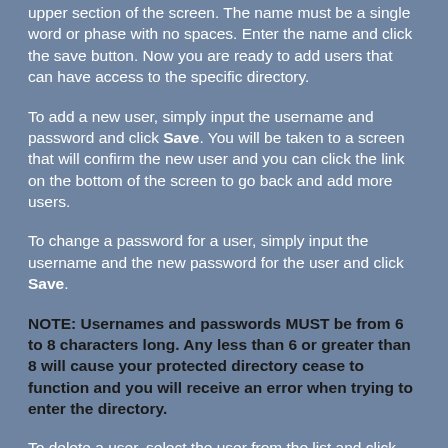upper section of the screen. The name must be a single word or phase with no spaces. Enter the name and click the save button. Now you are ready to add users that can have access to the specific directory.
To add a new user, simply input the username and password and click Save. You will be taken to a screen that will confirm the new user and you can click the link on the bottom of the screen to go back and add more users.
To change a password for a user, simply input the username and the new password for the user and click Save.
NOTE: Usernames and passwords MUST be from 6 to 8 characters long. Any less than 6 or greater than 8 will cause your protected directory cease to function and you will receive an error when trying to enter the directory.
To delete a user, select the user from the list and click the Delete button.